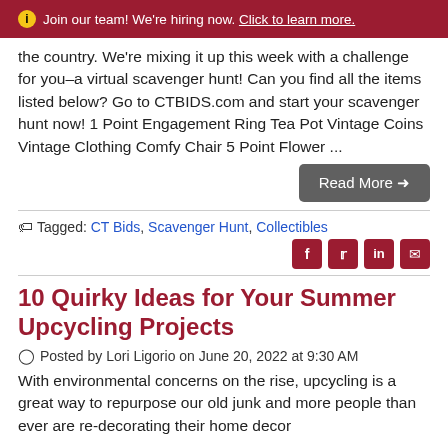ⓘ Join our team! We're hiring now. Click to learn more.
the country. We're mixing it up this week with a challenge for you–a virtual scavenger hunt! Can you find all the items listed below? Go to CTBIDS.com and start your scavenger hunt now! 1 Point Engagement Ring Tea Pot Vintage Coins Vintage Clothing Comfy Chair 5 Point Flower ...
Read More →
Tagged: CT Bids, Scavenger Hunt, Collectibles
10 Quirky Ideas for Your Summer Upcycling Projects
Posted by Lori Ligorio on June 20, 2022 at 9:30 AM
With environmental concerns on the rise, upcycling is a great way to repurpose our old junk and more people than ever are re-decorating their home decor...